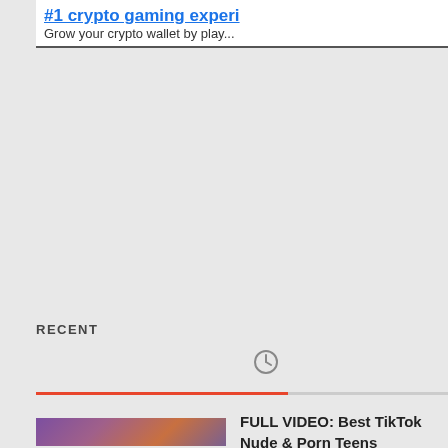[Figure (screenshot): Advertisement banner with link '#1 crypto gaming experi...' and subtext 'Grow your crypto wallet by play...']
RECENT
[Figure (screenshot): Tab bar with clock icon (active, left) and tag/label icon (right), with orange underline on active tab]
[Figure (photo): Thumbnail image for video content]
FULL VIDEO: Best TikTok Nude & Porn Teens Compilation #37!